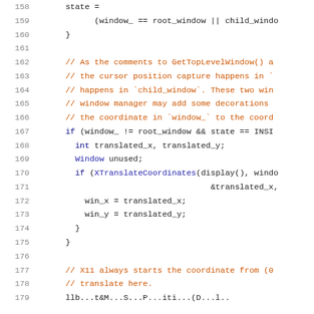[Figure (screenshot): Source code viewer showing C++ code lines 158-179 with syntax highlighting. Line numbers in gray on the left, comments in orange/brown, keywords in dark blue, regular code in black.]